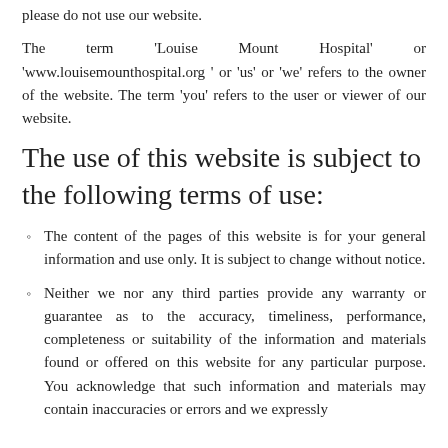please do not use our website.
The term 'Louise Mount Hospital' or 'www.louisemounthospital.org ' or 'us' or 'we' refers to the owner of the website. The term 'you' refers to the user or viewer of our website.
The use of this website is subject to the following terms of use:
The content of the pages of this website is for your general information and use only. It is subject to change without notice.
Neither we nor any third parties provide any warranty or guarantee as to the accuracy, timeliness, performance, completeness or suitability of the information and materials found or offered on this website for any particular purpose. You acknowledge that such information and materials may contain inaccuracies or errors and we expressly